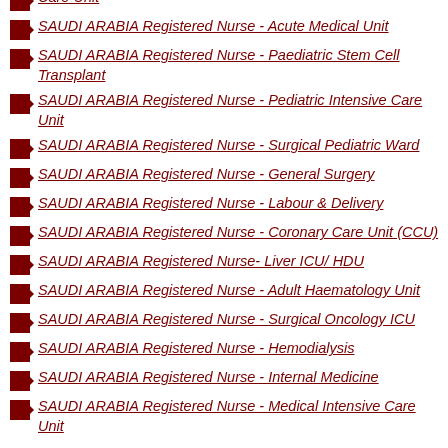Care Unit
SAUDI ARABIA Registered Nurse - Acute Medical Unit
SAUDI ARABIA Registered Nurse - Paediatric Stem Cell Transplant
SAUDI ARABIA Registered Nurse - Pediatric Intensive Care Unit
SAUDI ARABIA Registered Nurse - Surgical Pediatric Ward
SAUDI ARABIA Registered Nurse - General Surgery
SAUDI ARABIA Registered Nurse - Labour & Delivery
SAUDI ARABIA Registered Nurse - Coronary Care Unit (CCU)
SAUDI ARABIA Registered Nurse- Liver ICU/ HDU
SAUDI ARABIA Registered Nurse - Adult Haematology Unit
SAUDI ARABIA Registered Nurse - Surgical Oncology ICU
SAUDI ARABIA Registered Nurse - Hemodialysis
SAUDI ARABIA Registered Nurse - Internal Medicine
SAUDI ARABIA Registered Nurse - Medical Intensive Care Unit (Page 2)